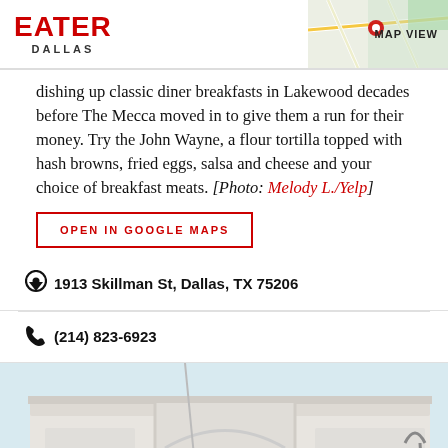EATER DALLAS | MAP VIEW
dishing up classic diner breakfasts in Lakewood decades before The Mecca moved in to give them a run for their money. Try the John Wayne, a flour tortilla topped with hash browns, fried eggs, salsa and cheese and your choice of breakfast meats. [Photo: Melody L./Yelp]
OPEN IN GOOGLE MAPS
1913 Skillman St, Dallas, TX 75206
(214) 823-6923
[Figure (photo): Exterior photo of Goldrush Cafe building facade, white stucco with green lettering visible at bottom, light blue sky in background, flagpole visible on left]